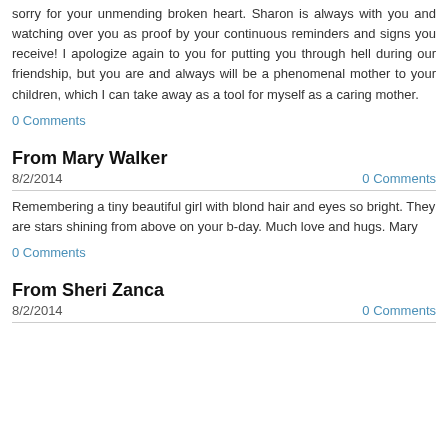sorry for your unmending broken heart. Sharon is always with you and watching over you as proof by your continuous reminders and signs you receive! I apologize again to you for putting you through hell during our friendship, but you are and always will be a phenomenal mother to your children, which I can take away as a tool for myself as a caring mother.
0 Comments
From Mary Walker
8/2/2014
0 Comments
Remembering a tiny beautiful girl with blond hair and eyes so bright. They are stars shining from above on your b-day. Much love and hugs. Mary
0 Comments
From Sheri Zanca
8/2/2014
0 Comments